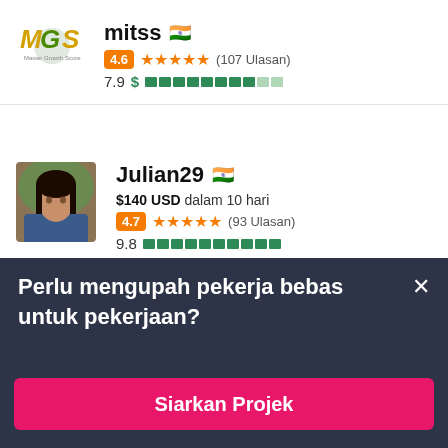[Figure (logo): MOS logo - stylized text logo with yellow/green letters]
mitss 🇮🇳
4.6 ★★★★★ (107 Ulasan)
7.9 $ ██████████
[Figure (photo): Profile photo of Julian29 - woman with dark hair]
Julian29 🇮🇳
$140 USD dalam 10 hari
4.7 ★★★★★ (93 Ulasan)
Perlu mengupah pekerja bebas untuk pekerjaan?
Siarkan Projek